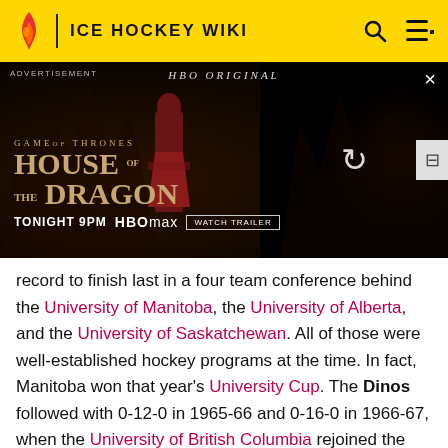ICE HOCKEY WIKI
[Figure (photo): HBO Max advertisement for House of the Dragon (Game of Thrones) showing Tonight 9PM HBO Max Watch Trailer, with a dark fantasy background and a woman in red dress.]
record to finish last in a four team conference behind the University of Manitoba, the University of Alberta, and the University of Saskatchewan. All of those were well-established hockey programs at the time. In fact, Manitoba won that year's University Cup. The Dinos followed with 0-12-0 in 1965-66 and 0-16-0 in 1966-67, when the University of British Columbia rejoined the league.
When the WCMA split in two following the 1971-72 season,